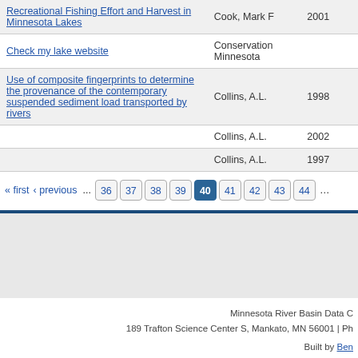| Title | Author | Year |
| --- | --- | --- |
| Recreational Fishing Effort and Harvest in Minnesota Lakes | Cook, Mark F | 2001 |
| Check my lake website | Conservation Minnesota |  |
| Use of composite fingerprints to determine the provenance of the contemporary suspended sediment load transported by rivers | Collins, A.L. | 1998 |
|  | Collins, A.L. | 2002 |
|  | Collins, A.L. | 1997 |
« first  ‹ previous  ...  36  37  38  39  40  41  42  43  44  ...
Minnesota River Basin Data C  189 Trafton Science Center S, Mankato, MN 56001 | Ph  Built by Ben